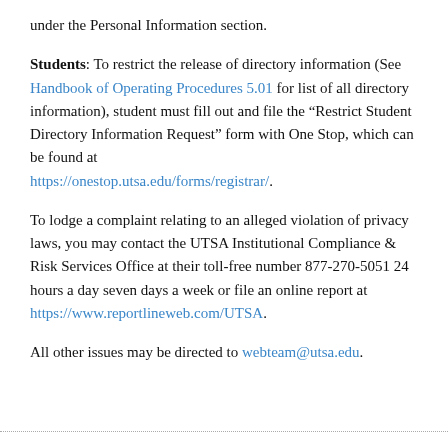under the Personal Information section.
Students: To restrict the release of directory information (See Handbook of Operating Procedures 5.01 for list of all directory information), student must fill out and file the “Restrict Student Directory Information Request” form with One Stop, which can be found at https://onestop.utsa.edu/forms/registrar/.
To lodge a complaint relating to an alleged violation of privacy laws, you may contact the UTSA Institutional Compliance & Risk Services Office at their toll-free number 877-270-5051 24 hours a day seven days a week or file an online report at https://www.reportlineweb.com/UTSA.
All other issues may be directed to webteam@utsa.edu.